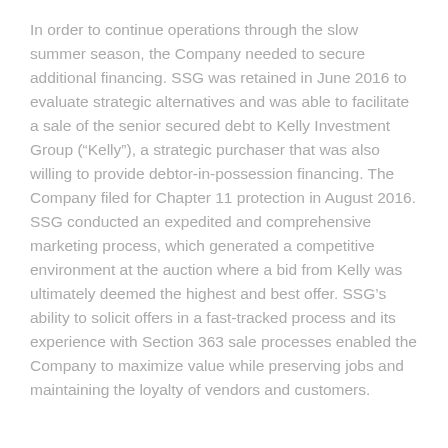In order to continue operations through the slow summer season, the Company needed to secure additional financing. SSG was retained in June 2016 to evaluate strategic alternatives and was able to facilitate a sale of the senior secured debt to Kelly Investment Group (“Kelly”), a strategic purchaser that was also willing to provide debtor-in-possession financing. The Company filed for Chapter 11 protection in August 2016. SSG conducted an expedited and comprehensive marketing process, which generated a competitive environment at the auction where a bid from Kelly was ultimately deemed the highest and best offer. SSG’s ability to solicit offers in a fast-tracked process and its experience with Section 363 sale processes enabled the Company to maximize value while preserving jobs and maintaining the loyalty of vendors and customers.